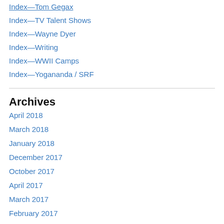Index—Tom Gegax
Index—TV Talent Shows
Index—Wayne Dyer
Index—Writing
Index—WWII Camps
Index—Yogananda / SRF
Archives
April 2018
March 2018
January 2018
December 2017
October 2017
April 2017
March 2017
February 2017
January 2017
December 2016